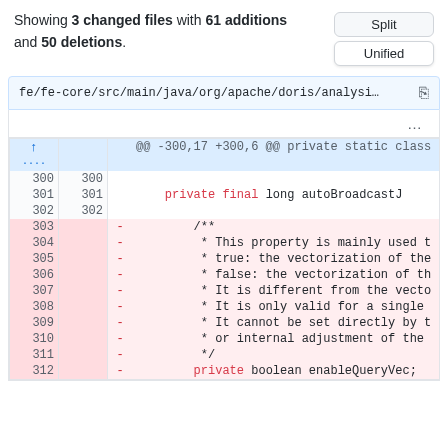Showing 3 changed files with 61 additions and 50 deletions.
| old_line | new_line | sign | code |
| --- | --- | --- | --- |
|  |  | hunk | @@ -300,17 +300,6 @@ private static class |
| 300 | 300 |  |  |
| 301 | 301 |  |     private final long autoBroadcastJ |
| 302 | 302 |  |  |
| 303 |  | - |         /** |
| 304 |  | - |          * This property is mainly used t |
| 305 |  | - |          * true: the vectorization of the |
| 306 |  | - |          * false: the vectorization of th |
| 307 |  | - |          * It is different from the vecto |
| 308 |  | - |          * It is only valid for a single |
| 309 |  | - |          * It cannot be set directly by t |
| 310 |  | - |          * or internal adjustment of the |
| 311 |  | - |          */ |
| 312 |  | - |         private boolean enableQueryVec; |